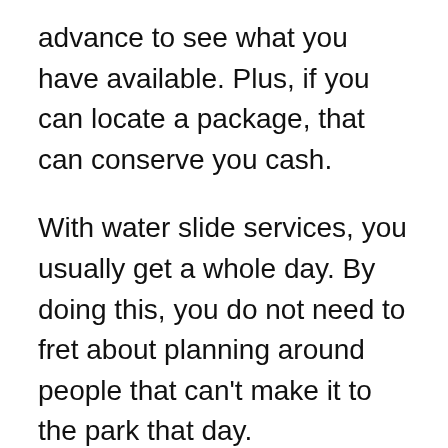advance to see what you have available. Plus, if you can locate a package, that can conserve you cash.
With water slide services, you usually get a whole day. By doing this, you do not need to fret about planning around people that can't make it to the park that day. Nonetheless, you do need to prepare for when they open, to make sure that you can obtain your slides leased asap. It can take a while for the water slide rental firm to get your order to the parks, however it will be worth it to have them up and running quicker as opposed to later on.
Water slide services in New Orleans are practically criterion across the board. They can be found in